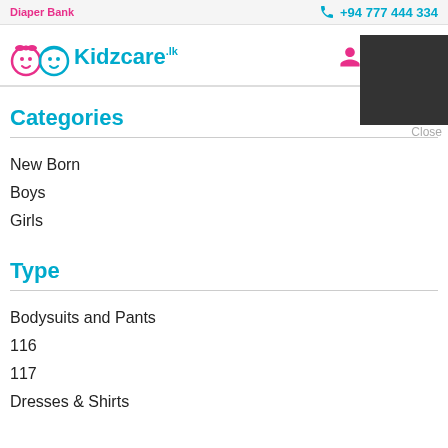Diaper Bank
+94 777 444 334
Kidzcare
Categories
New Born
Boys
Girls
Type
Bodysuits and Pants
116
117
Dresses & Shirts